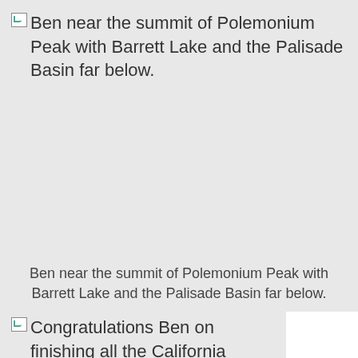[Figure (photo): Broken image placeholder with alt text: Ben near the summit of Polemonium Peak with Barrett Lake and the Palisade Basin far below.]
Ben near the summit of Polemonium Peak with Barrett Lake and the Palisade Basin far below.
[Figure (photo): Broken image placeholder with alt text: Congratulations Ben on finishing all the California 14ers!!]